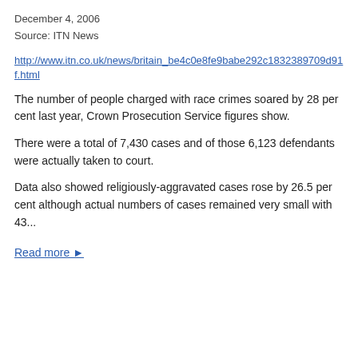December 4, 2006
Source: ITN News
http://www.itn.co.uk/news/britain_be4c0e8fe9babe292c1832389709d91f.html
The number of people charged with race crimes soared by 28 per cent last year, Crown Prosecution Service figures show.
There were a total of 7,430 cases and of those 6,123 defendants were actually taken to court.
Data also showed religiously-aggravated cases rose by 26.5 per cent although actual numbers of cases remained very small with 43...
Read more ▶